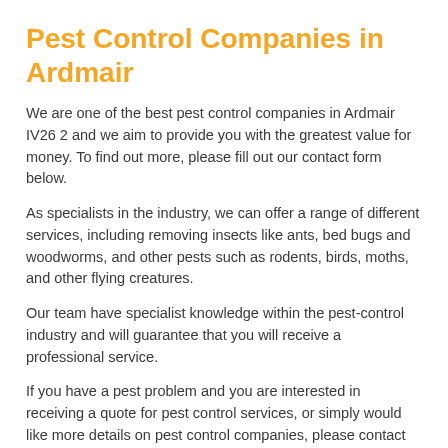Pest Control Companies in Ardmair
We are one of the best pest control companies in Ardmair IV26 2 and we aim to provide you with the greatest value for money. To find out more, please fill out our contact form below.
As specialists in the industry, we can offer a range of different services, including removing insects like ants, bed bugs and woodworms, and other pests such as rodents, birds, moths, and other flying creatures.
Our team have specialist knowledge within the pest-control industry and will guarantee that you will receive a professional service.
If you have a pest problem and you are interested in receiving a quote for pest control services, or simply would like more details on pest control companies, please contact us now using the enquiry form presented on this page.